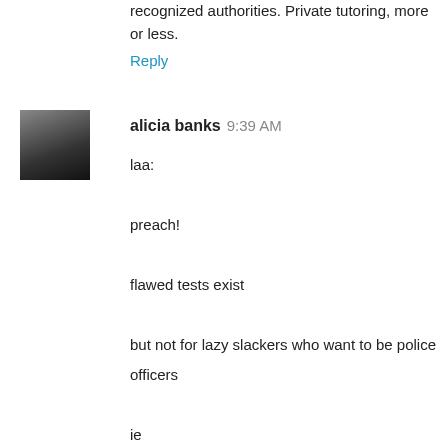recognized authorities. Private tutoring, more or less.
Reply
alicia banks 9:39 AM
laa:

preach!

flawed tests exist

but not for lazy slackers who want to be police officers

ie

a flawed test for a child would be:

what color is a banana?

a child with a suburban grocery experience would answer green or yellow